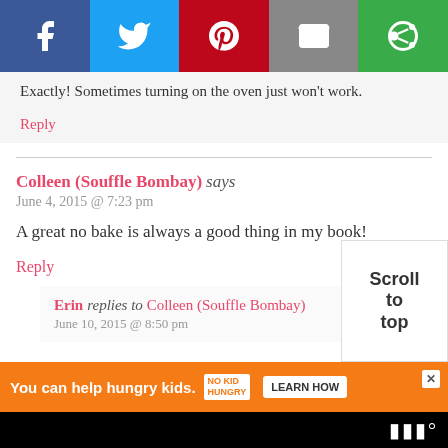[Figure (other): Social media sharing bar with Facebook, Twitter, Pinterest, Email, and GetPocket buttons]
Exactly! Sometimes turning on the oven just won't work.
Reply
Colleen (Souffle Bombay) says
June 4, 2015 @ 7:23 pm
A great no bake is always a good thing in my book!
Reply
Erin replies to Colleen (Souffle Bombay)
June 10, 2015 @ 8:50 pm
[Figure (other): Scroll to top overlay button]
[Figure (other): No Kid Hungry advertisement banner at bottom]